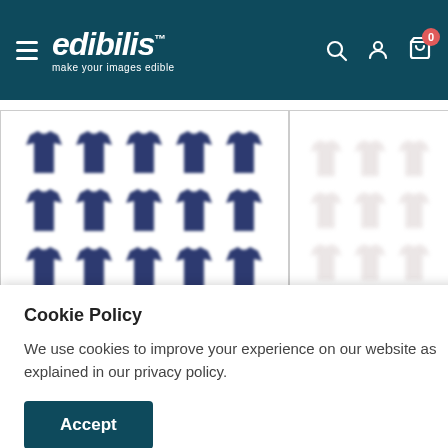edibilis — make your images edible
[Figure (screenshot): Grid of 15 dark navy t-shirt icons arranged in 3 rows of 5, slightly blurred, on white background card]
[Figure (screenshot): Grid of light/outline t-shirt icons arranged in 3 rows of 3, very blurred/faded, on white background card (partial, right side)]
Cookie Policy
We use cookies to improve your experience on our website as explained in our privacy policy.
Accept